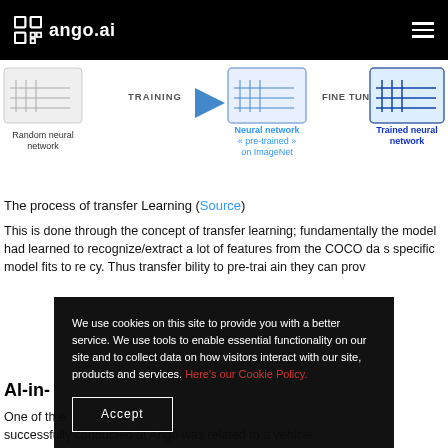ango.ai
[Figure (infographic): Transfer learning diagram showing: Random neural network → TRAINING → Neural network pre-trained on ImageNet → FINE TUNING → Trained neural network. Icons with blue arrow steps.]
The process of transfer Learning (Source)
This is done through the concept of transfer learning; fundamentally the model had learned to recognize/extract a lot of features from the COCO dataset. These specific dataset model fits to remap with accuracy. Thus transfer ability to pre-train they can prove
AI-in-
One of the successfully conducted at Ango was related to a vehicle